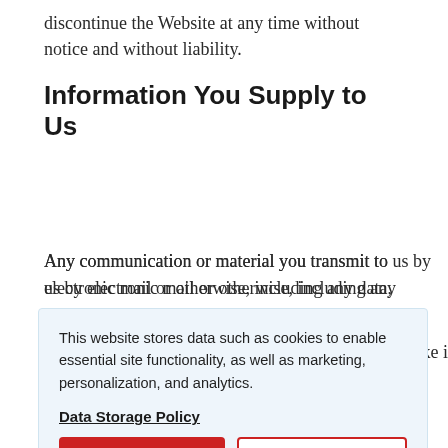discontinue the Website at any time without notice and without liability.
Information You Supply to Us
Any communication or material you transmit to us by electronic mail or otherwise, including any data, [he like is, [and [ no [uch [ost [may be [iaries, [rd-party service providers for any purpose, including, but
This website stores data such as cookies to enable essential site functionality, as well as marketing, personalization, and analytics.
Data Storage Policy
Accept
Deny